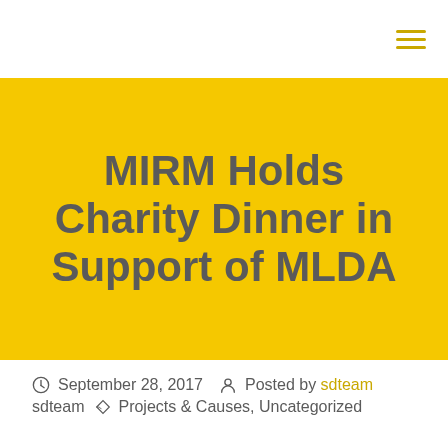MIRM Holds Charity Dinner in Support of MLDA
September 28, 2017  Posted by sdteam sdteam  Projects & Causes, Uncategorized